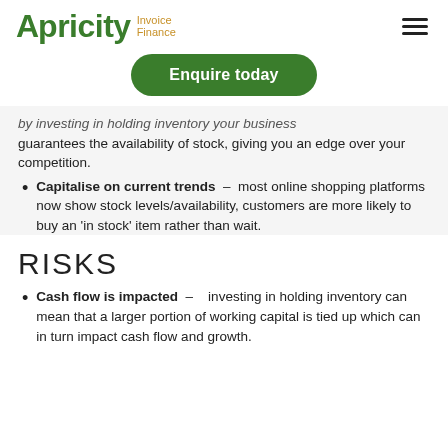Apricity Invoice Finance
Enquire today
by investing in holding inventory your business guarantees the availability of stock, giving you an edge over your competition.
Capitalise on current trends – most online shopping platforms now show stock levels/availability, customers are more likely to buy an 'in stock' item rather than wait.
RISKS
Cash flow is impacted – investing in holding inventory can mean that a larger portion of working capital is tied up which can in turn impact cash flow and growth.